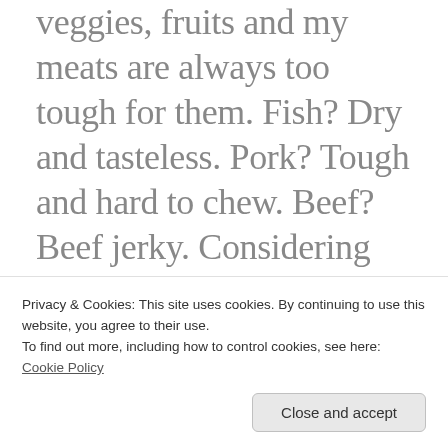veggies, fruits and my meats are always too tough for them. Fish? Dry and tasteless. Pork? Tough and hard to chew. Beef? Beef jerky. Considering that they used to be the best cooks ever, my cooking serves as a reminder, “Yes Virginia, there are folks out there that just cannot cook or bake.”
Signed
Privacy & Cookies: This site uses cookies. By continuing to use this website, you agree to their use.
To find out more, including how to control cookies, see here:
Cookie Policy
Close and accept